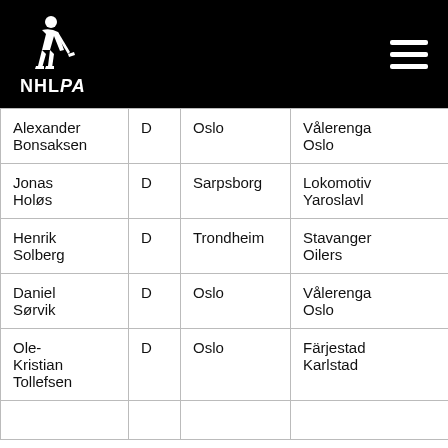[Figure (logo): NHLPA logo with hockey player silhouette on black background with hamburger menu icon]
| Alexander Bonsaksen | D | Oslo | Vålerenga Oslo |
| Jonas Holøs | D | Sarpsborg | Lokomotiv Yaroslavl |
| Henrik Solberg | D | Trondheim | Stavanger Oilers |
| Daniel Sørvik | D | Oslo | Vålerenga Oslo |
| Ole-Kristian Tollefsen | D | Oslo | Färjestad Karlstad |